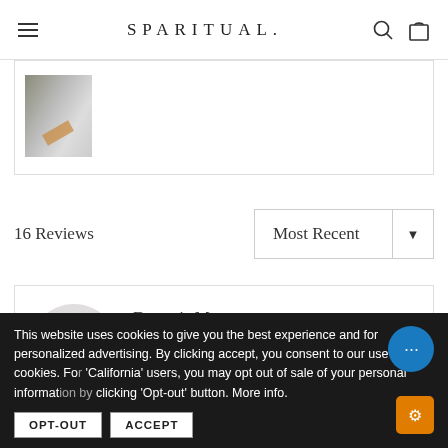SPARITUAL.
[Figure (photo): Product thumbnail image showing a nail file or similar beauty tool on a grey background]
16 Reviews
Most Recent
Damaris M.
Verified Buyer
This website uses cookies to give you the best experience and for personalized advertising. By clicking accept, you consent to our use of cookies. For 'California' users, you may opt out of sale of your personal information by clicking 'Opt-out' button. More info.